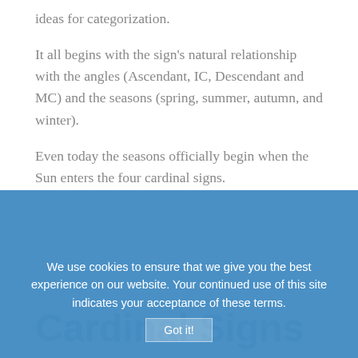ideas for categorization.
It all begins with the sign’s natural relationship with the angles (Ascendant, IC, Descendant and MC) and the seasons (spring, summer, autumn, and winter).
Even today the seasons officially begin when the Sun enters the four cardinal signs.
Astrology has its roots in the northern hemisphere and references to spring and autumn are northern-centric terminology. South of the equator spring and autumn are reversed and summer and winter.
Cardinal Signs
We use cookies to ensure that we give you the best experience on our website. Your continued use of this site indicates your acceptance of these terms.